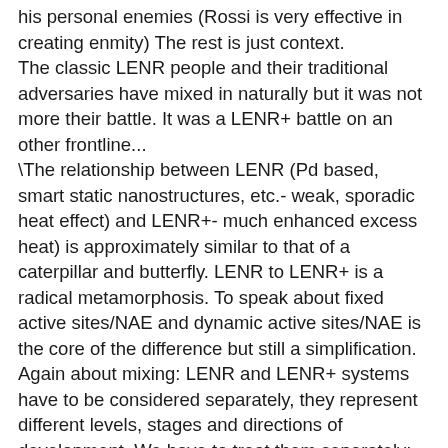his personal enemies (Rossi is very effective in creating enmity) The rest is just context. The classic LENR people and their traditional adversaries have mixed in naturally but it was not more their battle. It was a LENR+ battle on an other frontline... \The relationship between LENR (Pd based, smart static nanostructures, etc.- weak, sporadic heat effect) and LENR+- much enhanced excess heat) is approximately similar to that of a caterpillar and butterfly. LENR to LENR+ is a radical metamorphosis. To speak about fixed active sites/NAE and dynamic active sites/NAE is the core of the difference but still a simplification. Again about mixing: LENR and LENR+ systems have to be considered separately, they represent different levels, stages and directions of development. We have to treat them separately; do not mix cherries and pumpkins. (idiotic metaphor, take it only dimensionally) The final battles will take place very probably between a LENR+ technology smarter than Rossi's and the last place will be the market. Some of enemies of the coming LENR+ technology are so obsessed with their unbelief that they will look with suspicion